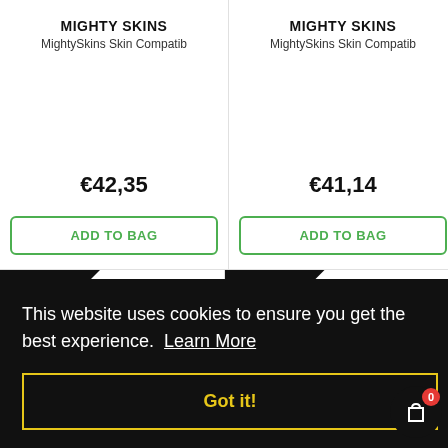MIGHTY SKINS
MightySkins Skin Compatib
€42,35
ADD TO BAG
MIGHTY SKINS
MightySkins Skin Compatib
€41,14
ADD TO BAG
[Figure (photo): White camera/device product, left card, with New badge]
[Figure (photo): Red camera/device product, right card, with New badge]
This website uses cookies to ensure you get the best experience. Learn More
Got it!